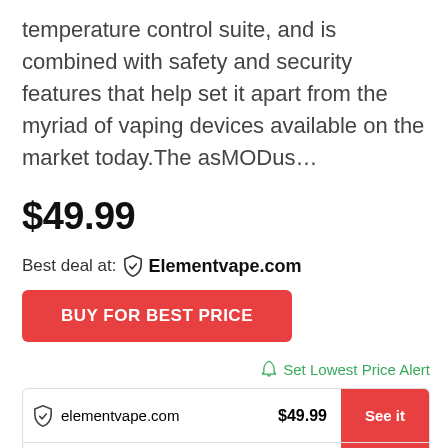temperature control suite, and is combined with safety and security features that help set it apart from the myriad of vaping devices available on the market today.The asMODus…
$49.99
Best deal at: Elementvape.com
BUY FOR BEST PRICE
Set Lowest Price Alert
| Store | Price | Action |
| --- | --- | --- |
| elementvape.com | $49.99 | See it |
| vapesourcing.com | $69.99 | See it |